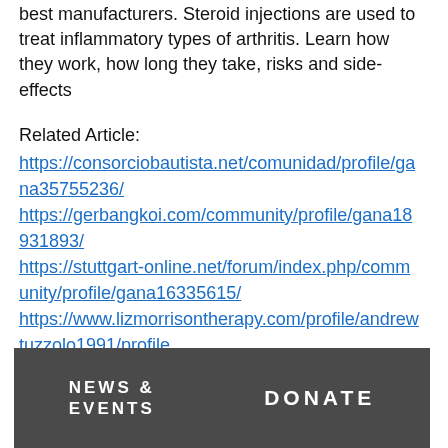best manufacturers. Steroid injections are used to treat inflammatory types of arthritis. Learn how they work, how long they take, risks and side-effects
Related Article:
https://consorciobautista.net/comunidad/profile/gana35755236/
https://gerbangkoi.com/community/profile/gana18931893/
https://stuttgart-online.net/forum/index.php/community/profile/gana16335615/
https://www.lizmorrisontherapy.com/profile/andrewtuzzolo1991/profile
NEWS & EVENTS   DONATE